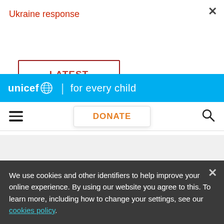Ukraine response
LATEST
[Figure (logo): UNICEF 'for every child' logo — white text on cyan/blue background with globe icon]
DONATE
About UNICEF
We use cookies and other identifiers to help improve your online experience. By using our website you agree to this. To learn more, including how to change your settings, see our cookies policy.